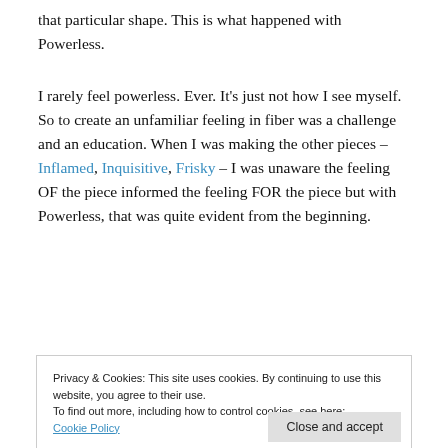that particular shape.  This is what happened with Powerless.
I rarely feel powerless.  Ever.  It's just not how I see myself.  So to create an unfamiliar feeling in fiber was a challenge and an education.  When I was making the other pieces – Inflamed, Inquisitive, Frisky – I was unaware the feeling OF the piece informed the feeling FOR the piece but with Powerless, that was quite evident from the beginning.
Privacy & Cookies: This site uses cookies. By continuing to use this website, you agree to their use.
To find out more, including how to control cookies, see here:
Cookie Policy
Close and accept
The final piece bears little resemblance to the